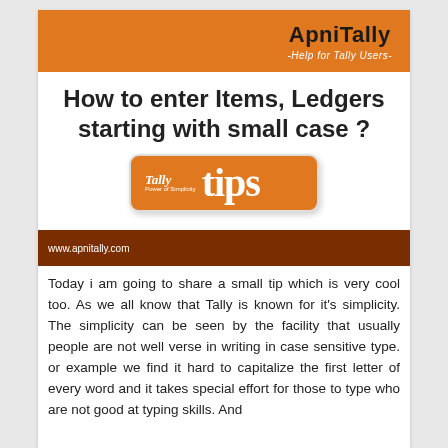[Figure (logo): ApniTally orange header banner with text 'ApniTally -Help for Tally Users-']
How to enter Items, Ledgers starting with small case ?
[Figure (illustration): Orange rounded rectangle badge with 'Tally tips' text and Tally logo]
www.apnitally.com
Today i am going to share a small tip which is very cool too. As we all know that Tally is known for it's simplicity. The simplicity can be seen by the facility that usually people are not well verse in writing in case sensitive type. or example we find it hard to capitalize the first letter of every word and it takes special effort for those to type who are not good at typing skills. And